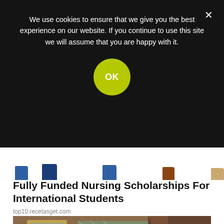We use cookies to ensure that we give you the best experience on our website. If you continue to use this site we will assume that you are happy with it.
Fully Funded Nursing Scholarships For International Students
top10.recetasget.com
[Figure (photo): A woman with long dark hair smiling, photographed indoors in an elegant room with gold-framed mirror, curtains, and yellow flowers in background]